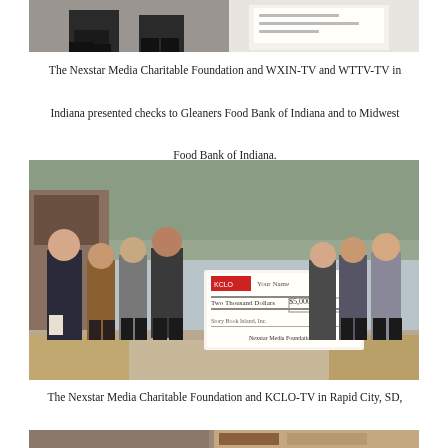[Figure (photo): Top portion of a photo showing people standing indoors, partially cropped at top of page]
The Nexstar Media Charitable Foundation and WXIN-TV and WTTV-TV in Indiana presented checks to Gleaners Food Bank of Indiana and to Midwest Food Bank of Indiana.
[Figure (photo): Group of people standing outside holding a large ceremonial check from the Nexstar Media Charitable Foundation, trees visible in background]
The Nexstar Media Charitable Foundation and KCLO-TV in Rapid City, SD, donated to Storybook Island.
[Figure (photo): Bottom portion of another photo, partially visible at bottom of page]